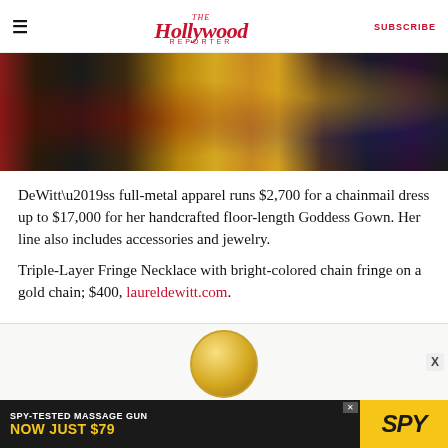The Hollywood Reporter | SUBSCRIBE
[Figure (photo): Cropped photo of people in ornate gold and black metallic fashion at an event]
DeWitt’ss full-metal apparel runs $2,700 for a chainmail dress up to $17,000 for her handcrafted floor-length Goddess Gown. Her line also includes accessories and jewelry.
Triple-Layer Fringe Necklace with bright-colored chain fringe on a gold chain; $400, laureldewitt.com.
[Figure (photo): Partial photo showing a gold necklace/jewelry piece on white background]
[Figure (photo): Advertisement banner: SPY-TESTED MASSAGE GUN NOW JUST $79 with SPY logo on yellow background]